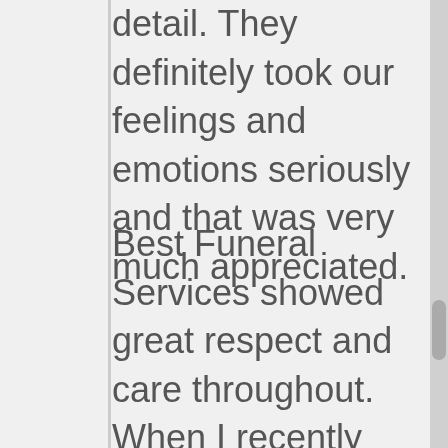detail. They definitely took our feelings and emotions seriously and that was very much appreciated.
Best Funeral Services showed great respect and care throughout. When I recently called and requested a document, Dee was very responsive and provided the information I needed right away. No hoops to jump through, or multiple calls to